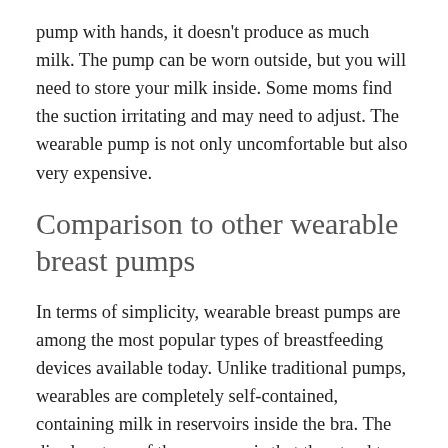pump with hands, it doesn't produce as much milk. The pump can be worn outside, but you will need to store your milk inside. Some moms find the suction irritating and may need to adjust. The wearable pump is not only uncomfortable but also very expensive.
Comparison to other wearable breast pumps
In terms of simplicity, wearable breast pumps are among the most popular types of breastfeeding devices available today. Unlike traditional pumps, wearables are completely self-contained, containing milk in reservoirs inside the bra. The disadvantage of these pumps is that they tend to overfill and spill, so it's important to make a careful comparison before